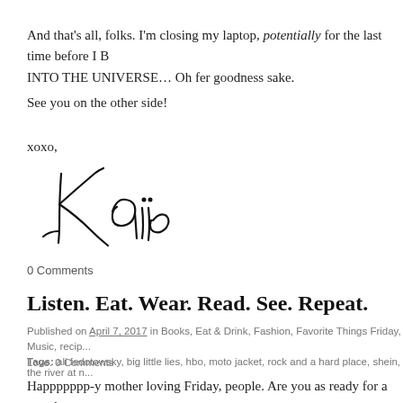And that's all, folks. I'm closing my laptop, potentially for the last time before I B... INTO THE UNIVERSE… Oh fer goodness sake.
See you on the other side!
xoxo,
[Figure (illustration): Handwritten cursive signature reading 'Kaiie' or similar name]
0 Comments
Listen. Eat. Wear. Read. See. Repeat.
Published on April 7, 2017 in Books, Eat & Drink, Fashion, Favorite Things Friday, Music, recip... Love. 0 Comments
Tags: ali fedotowsky, big little lies, hbo, moto jacket, rock and a hard place, shein, the river at n...
Happppppp-y mother loving Friday, people. Are you as ready for a two day re... as much as I am? Good, good. Without further ado, here are a few things I'm fe...